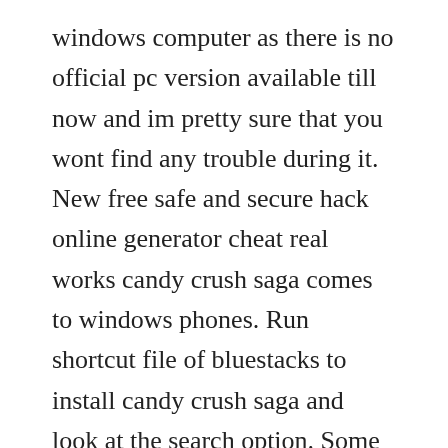windows computer as there is no official pc version available till now and im pretty sure that you wont find any trouble during it. New free safe and secure hack online generator cheat real works candy crush saga comes to windows phones. Run shortcut file of bluestacks to install candy crush saga and look at the search option. Some people are addicted for some of their favourite games. Candy crush soda saga download for pc windows 10 8 7 laptop. Download this game from microsoft store for windows 10, windows 10 mobile, windows phone 8